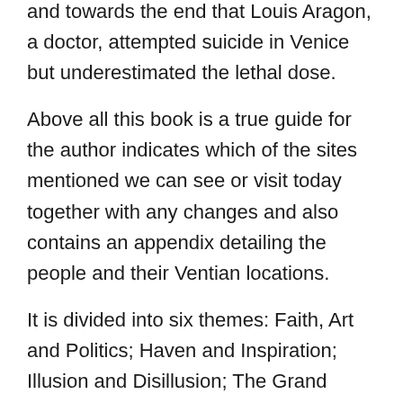and towards the end that Louis Aragon, a doctor, attempted suicide in Venice but underestimated the lethal dose.
Above all this book is a true guide for the author indicates which of the sites mentioned we can see or visit today together with any changes and also contains an appendix detailing the people and their Ventian locations.
It is divided into six themes: Faith, Art and Politics; Haven and Inspiration; Illusion and Disillusion; The Grand Tour; Lust and Love and Death and Mystery, and these do shape the text